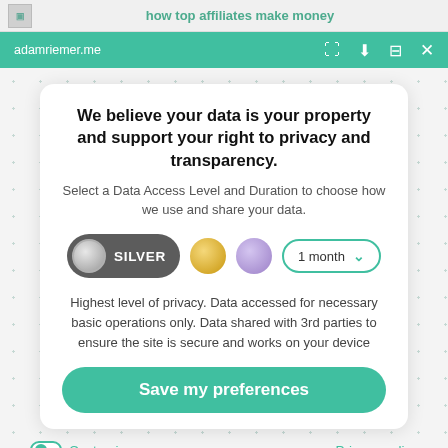how top affiliates make money
adamriemer.me
We believe your data is your property and support your right to privacy and transparency.
Select a Data Access Level and Duration to choose how we use and share your data.
[Figure (infographic): Privacy options row with SILVER toggle selected (dark pill with grey circle and SILVER text), gold circle option, purple circle option, and a '1 month' dropdown with teal border.]
Highest level of privacy. Data accessed for necessary basic operations only. Data shared with 3rd parties to ensure the site is secure and works on your device
Save my preferences
Customize
Privacy policy